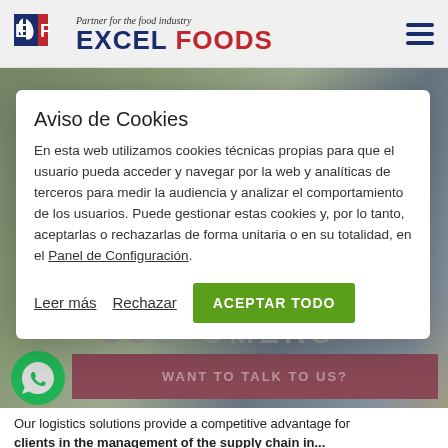[Figure (logo): Excel Foods logo with leaf/fork icon, tagline 'Partner for the food industry', brand name 'EXCEL FOODS' in blue and red]
[Figure (photo): Background food photo partially visible behind cookie modal]
Aviso de Cookies
En esta web utilizamos cookies técnicas propias para que el usuario pueda acceder y navegar por la web y analíticas de terceros para medir la audiencia y analizar el comportamiento de los usuarios. Puede gestionar estas cookies y, por lo tanto, aceptarlas o rechazarlas de forma unitaria o en su totalidad, en el Panel de Configuración.
Leer más   Rechazar   ACEPTAR TODO
CUSTOMERS
[Figure (logo): WhatsApp green icon]
WANT TO TALK TO US?
Our logistics solutions provide a competitive advantage for